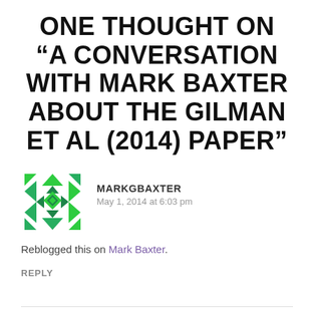ONE THOUGHT ON “A CONVERSATION WITH MARK BAXTER ABOUT THE GILMAN ET AL (2014) PAPER”
[Figure (logo): Green geometric mosaic avatar icon for user MARKGBAXTER, consisting of triangular and star-shaped segments arranged in a circular/square pattern]
MARKGBAXTER
May 1, 2014 at 6:03 pm
Reblogged this on Mark Baxter.
REPLY